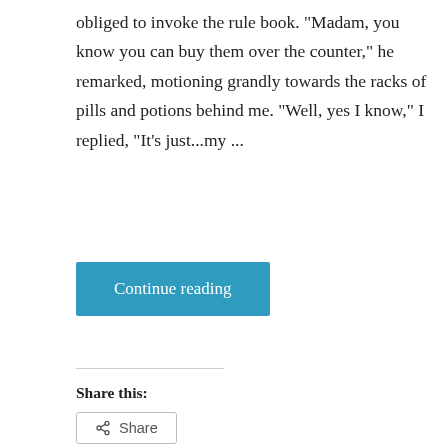obliged to invoke the rule book. "Madam, you know you can buy them over the counter," he remarked, motioning grandly towards the racks of pills and potions behind me. "Well, yes I know," I replied, "It's just...my ...
Continue reading
Share this:
Share
Loading...
20angel13  Life  7 Comments  14/02/2017  3 Minutes